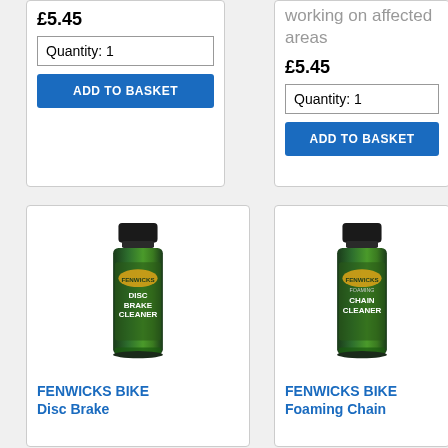£5.45
Quantity: 1
ADD TO BASKET
working on affected areas
£5.45
Quantity: 1
ADD TO BASKET
[Figure (photo): Fenwicks Disc Brake Cleaner aerosol spray can with green and black design]
FENWICKS BIKE Disc Brake
[Figure (photo): Fenwicks Foaming Chain Cleaner aerosol spray can with green and black design]
FENWICKS BIKE Foaming Chain